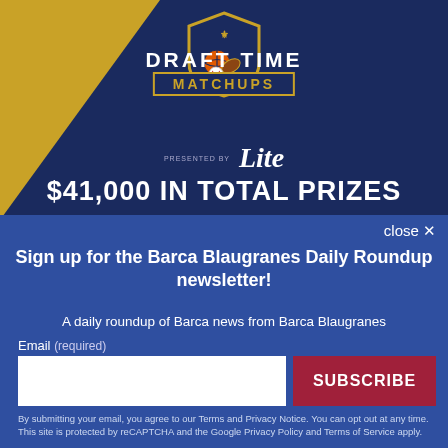[Figure (illustration): Draft Time Matchups promotional banner with shield logo, sports balls (basketball, football, baseball), gold and navy color scheme, presented by Miller Lite, $41,000 in total prizes text]
close ✕
Sign up for the Barca Blaugranes Daily Roundup newsletter!
A daily roundup of Barca news from Barca Blaugranes
Email (required)
SUBSCRIBE
By submitting your email, you agree to our Terms and Privacy Notice. You can opt out at any time. This site is protected by reCAPTCHA and the Google Privacy Policy and Terms of Service apply.